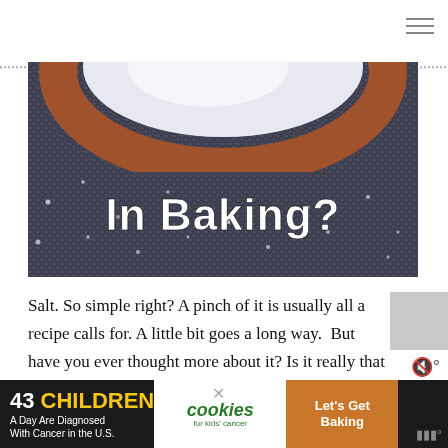[Figure (photo): Close-up photo of salt in a wooden bowl on a dark salt-covered surface with white text overlay reading 'In Baking?']
Salt. So simple right? A pinch of it is usually all a recipe calls for. A little bit goes a long way.  But have you ever thought more about it? Is it really that important?  You betcha. So important. Skip it
[Figure (infographic): Advertisement banner: '43 CHILDREN A Day Are Diagnosed With Cancer in the U.S.' with cookies for kids' cancer logo and 'Let's Get Baking' text]